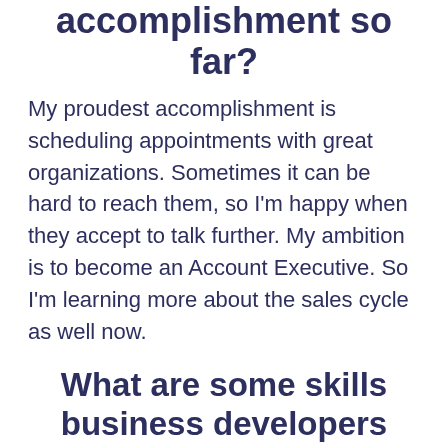accomplishment so far?
My proudest accomplishment is scheduling appointments with great organizations. Sometimes it can be hard to reach them, so I'm happy when they accept to talk further. My ambition is to become an Account Executive. So I'm learning more about the sales cycle as well now.
What are some skills business developers should have?
If you have experience withould billing...